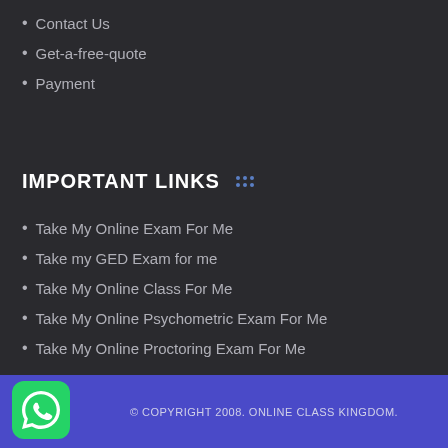Contact Us
Get-a-free-quote
Payment
IMPORTANT LINKS
Take My Online Exam For Me
Take my GED Exam for me
Take My Online Class For Me
Take My Online Psychometric Exam For Me
Take My Online Proctoring Exam For Me
© COPYRIGHT 2008. ONLINE CLASS KINGDOM.